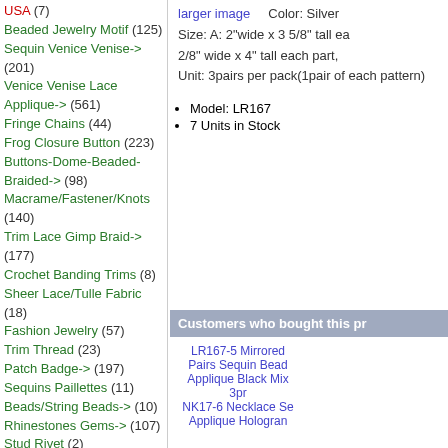USA (7)
Beaded Jewelry Motif (125)
Sequin Venice Venise-> (201)
Venice Venise Lace Applique-> (561)
Fringe Chains (44)
Frog Closure Button (223)
Buttons-Dome-Beaded-Braided-> (98)
Macrame/Fastener/Knots (140)
Trim Lace Gimp Braid-> (177)
Crochet Banding Trims (8)
Sheer Lace/Tulle Fabric (18)
Fashion Jewelry (57)
Trim Thread (23)
Patch Badge-> (197)
Sequins Paillettes (11)
Beads/String Beads-> (10)
Rhinestones Gems-> (107)
Stud Rivet (2)
Sequin Spool (21)
Crochet (91)
Crochet Fashion (7)
Organza Ribbon Satin Motif (18)
Lucite Resin Buckle/Button (21)
Sewing Accessories (11)
Metal Pins Sew On (16)
Belly Dance Costumes (5)
Cufflink (10)
Zipper (32)
Specials ...
New Products
larger image   Color: Silver
Size: A: 2"wide x 3 5/8" tall each, 2/8" wide x 4" tall each part,
Unit: 3pairs per pack(1pair of each pattern)
Model: LR167
7 Units in Stock
Customers who bought this pr
LR167-5 Mirrored Pairs Sequin Bead Applique Black Mix 3pr
NK17-6 Necklace Se Applique Hologran